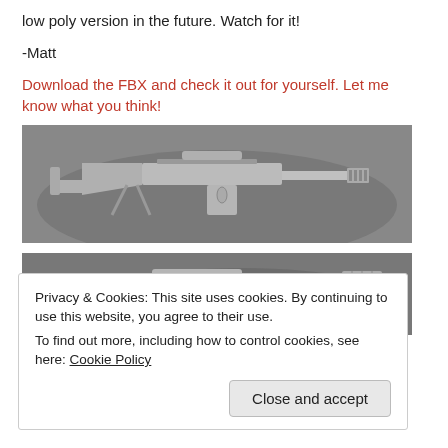low poly version in the future. Watch for it!
-Matt
Download the FBX and check it out for yourself.  Let me know what you think!
[Figure (photo): 3D render of a low-poly sniper rifle (Barrett-style) in gray on a dark gray background, side view]
[Figure (photo): 3D render of a low-poly weapon in gray on a dark gray background, angled view showing barrel and body]
Privacy & Cookies: This site uses cookies. By continuing to use this website, you agree to their use.
To find out more, including how to control cookies, see here: Cookie Policy
Close and accept